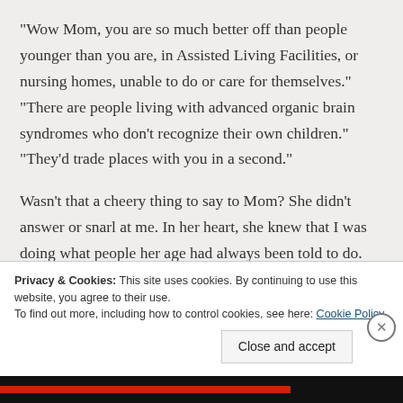"Wow Mom, you are so much better off than people younger than you are, in Assisted Living Facilities, or nursing homes, unable to do or care for themselves." "There are people living with advanced organic brain syndromes who don't recognize their own children." "They'd trade places with you in a second."

Wasn't that a cheery thing to say to Mom? She didn't answer or snarl at me. In her heart, she knew that I was doing what people her age had always been told to do. Accentuate the positive, don't dwell on the half empty
Privacy & Cookies: This site uses cookies. By continuing to use this website, you agree to their use.
To find out more, including how to control cookies, see here: Cookie Policy
Close and accept